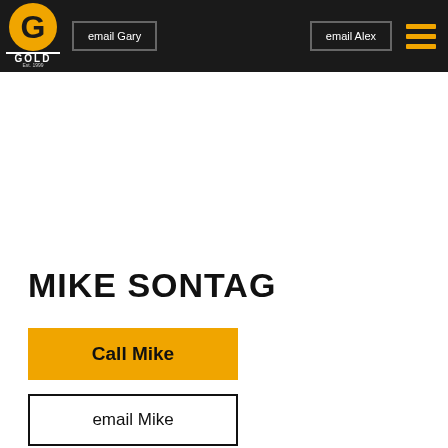[Figure (logo): Gold company logo with large G letter in black and gold, text GOLD and Est. 1999 below]
email Gary    email Alex
MIKE SONTAG
Call Mike
email Mike